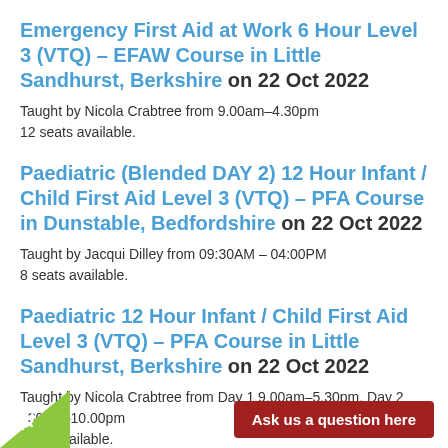Emergency First Aid at Work 6 Hour Level 3 (VTQ) – EFAW Course in Little Sandhurst, Berkshire on 22 Oct 2022
Taught by Nicola Crabtree from 9.00am–4.30pm
12 seats available.
Paediatric (Blended DAY 2) 12 Hour Infant / Child First Aid Level 3 (VTQ) – PFA Course in Dunstable, Bedfordshire on 22 Oct 2022
Taught by Jacqui Dilley from 09:30AM – 04:00PM
8 seats available.
Paediatric 12 Hour Infant / Child First Aid Level 3 (VTQ) – PFA Course in Little Sandhurst, Berkshire on 22 Oct 2022
Taught by Nicola Crabtree from Day 1 9.00am–5.30pm, Day 2 30pm–10.00pm
seats available.